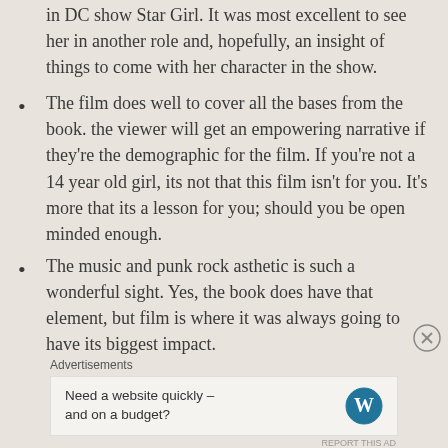in DC show Star Girl. It was most excellent to see her in another role and, hopefully, an insight of things to come with her character in the show.
The film does well to cover all the bases from the book. the viewer will get an empowering narrative if they're the demographic for the film. If you're not a 14 year old girl, its not that this film isn't for you. It's more that its a lesson for you; should you be open minded enough.
The music and punk rock asthetic is such a wonderful sight. Yes, the book does have that element, but film is where it was always going to have its biggest impact.
Advertisements
Need a website quickly – and on a budget?